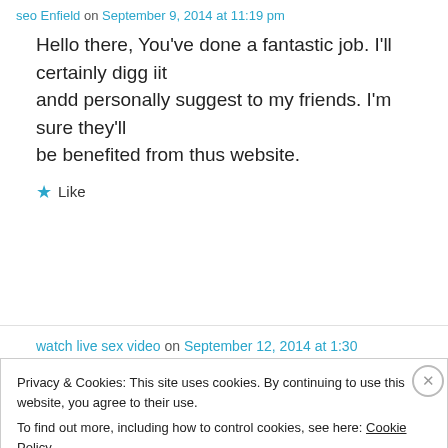seo Enfield on September 9, 2014 at 11:19 pm
Hello there, You've done a fantastic job. I'll certainly digg iit andd personally suggest to my friends. I'm sure they'll be benefited from thus website.
★ Like
watch live sex video on September 12, 2014 at 1:30
Privacy & Cookies: This site uses cookies. By continuing to use this website, you agree to their use.
To find out more, including how to control cookies, see here: Cookie Policy
Close and accept